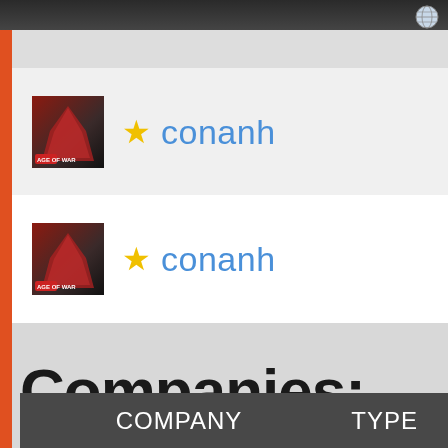[Figure (screenshot): Partial user row at top with avatar thumbnail]
★ conanh
★ conanh
Companies:
| COMPANY | TYPE |
| --- | --- |